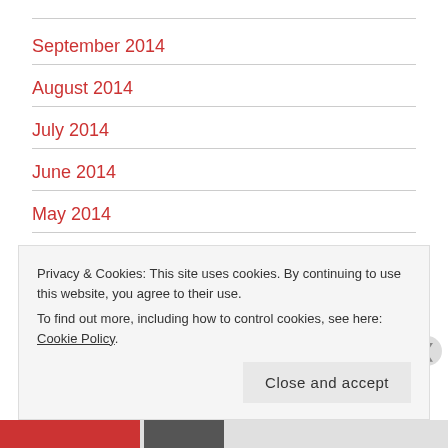September 2014
August 2014
July 2014
June 2014
May 2014
April 2014
March 2014
Privacy & Cookies: This site uses cookies. By continuing to use this website, you agree to their use. To find out more, including how to control cookies, see here: Cookie Policy
Close and accept